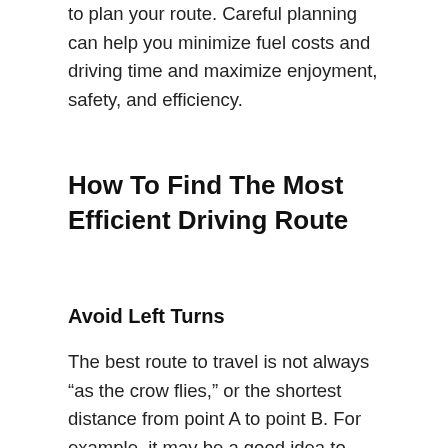to plan your route. Careful planning can help you minimize fuel costs and driving time and maximize enjoyment, safety, and efficiency.
How To Find The Most Efficient Driving Route
Avoid Left Turns
The best route to travel is not always “as the crow flies,” or the shortest distance from point A to point B. For example, it may be a good idea to avoid left-hand turns whenever possible, even when this leads to a slightly longer route. Many accidents at intersections involve drivers executing left-hand